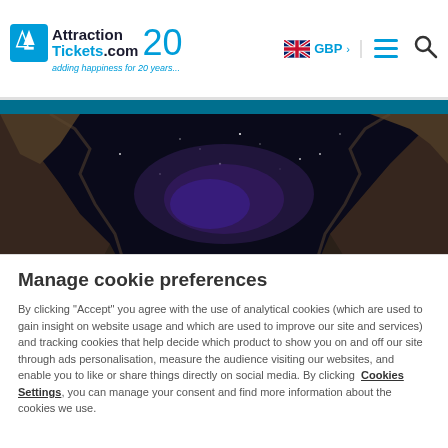[Figure (logo): AttractionTickets.com 20 years logo with tagline 'adding happiness for 20 years']
[Figure (photo): Cave opening with dark starry sky visible through rock arch, dramatic cave landscape photo]
Manage cookie preferences
By clicking "Accept" you agree with the use of analytical cookies (which are used to gain insight on website usage and which are used to improve our site and services) and tracking cookies that help decide which product to show you on and off our site through ads personalisation, measure the audience visiting our websites, and enable you to like or share things directly on social media. By clicking Cookies Settings, you can manage your consent and find more information about the cookies we use.